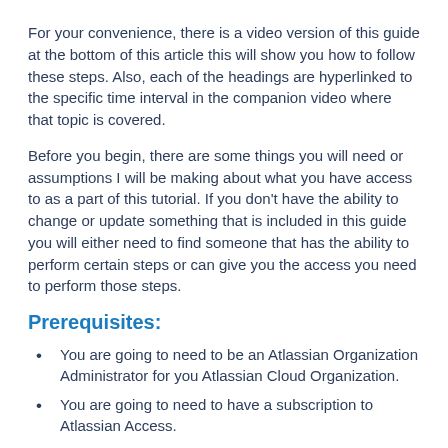For your convenience, there is a video version of this guide at the bottom of this article this will show you how to follow these steps. Also, each of the headings are hyperlinked to the specific time interval in the companion video where that topic is covered.
Before you begin, there are some things you will need or assumptions I will be making about what you have access to as a part of this tutorial. If you don't have the ability to change or update something that is included in this guide you will either need to find someone that has the ability to perform certain steps or can give you the access you need to perform those steps.
Prerequisites:
You are going to need to be an Atlassian Organization Administrator for you Atlassian Cloud Organization.
You are going to need to have a subscription to Atlassian Access.
In order to modify managed users, you will need to have already verified your domain and claimed your domain accounts. (Follow this guide if you haven't completed that step yet)